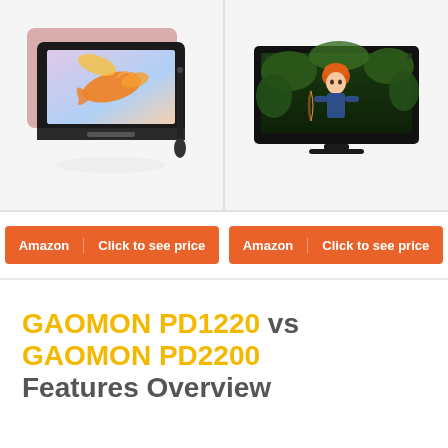[Figure (photo): GAOMON PD1220 drawing tablet in rose gold color with a stylus pen, displayed with goldfish digital art on screen]
[Figure (photo): GAOMON PD2200 large pen display monitor showing fantasy character digital artwork on screen]
Amazon   Click to see price
Amazon   Click to see price
GAOMON PD1220 vs GAOMON PD2200 Features Overview